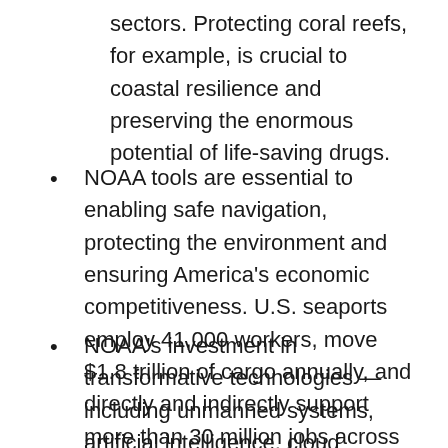sectors. Protecting coral reefs, for example, is crucial to coastal resilience and preserving the enormous potential of life-saving drugs.
NOAA tools are essential to enabling safe navigation, protecting the environment and ensuring America's economic competitiveness. U.S. seaports employ 41,000 workers, move $1.8 trillion of cargo annually, and directly and indirectly support more than 30 million jobs across sectors.
NOAA's investment in transformative technologies — including unmanned systems, artificial intelligence, cloud computing and 'omics, a revolutionary